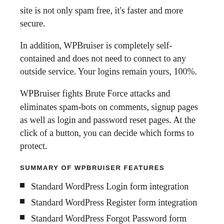site is not only spam free, it's faster and more secure.
In addition, WPBruiser is completely self-contained and does not need to connect to any outside service. Your logins remain yours, 100%.
WPBruiser fights Brute Force attacks and eliminates spam-bots on comments, signup pages as well as login and password reset pages. At the click of a button, you can decide which forms to protect.
SUMMARY OF WPBRUISER FEATURES
Standard WordPress Login form integration
Standard WordPress Register form integration
Standard WordPress Forgot Password form integration
Standard WordPress Comments form integration
Ability to set the maximum number of characters